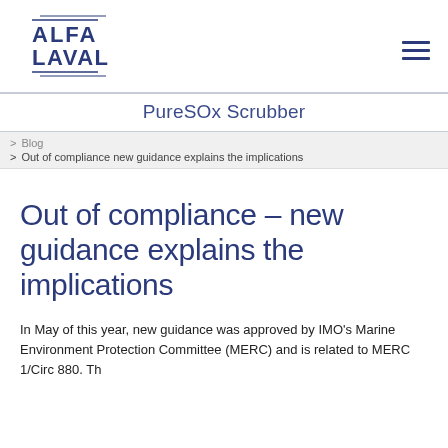[Figure (logo): Alfa Laval logo in dark blue/navy with stylized wave lines]
PureSOx Scrubber
Blog
Out of compliance new guidance explains the implications
Out of compliance – new guidance explains the implications
In May of this year, new guidance was approved by IMO's Marine Environment Protection Committee (MERC) and is related to MERC 1/Circ 880. Th...